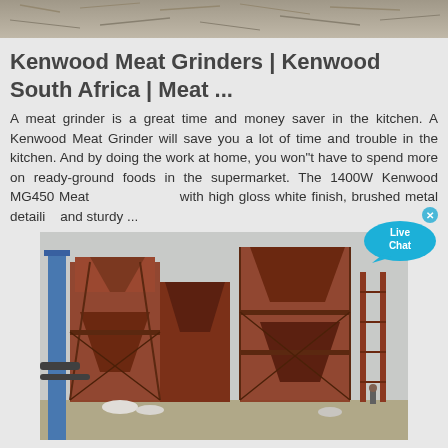[Figure (photo): Top partial image of what appears to be a textured surface or machinery, cropped at the top of the page.]
Kenwood Meat Grinders | Kenwood South Africa | Meat ...
A meat grinder is a great time and money saver in the kitchen. A Kenwood Meat Grinder will save you a lot of time and trouble in the kitchen. And by doing the work at home, you won"t have to spend more on ready-ground foods in the supermarket. The 1400W Kenwood MG450 Meat [Grinder comes] with high gloss white finish, brushed metal detailing and sturdy ...
[Figure (photo): Industrial grinder or milling equipment with large red steel structures, hoppers, and conveyor systems outdoors against a grey sky.]